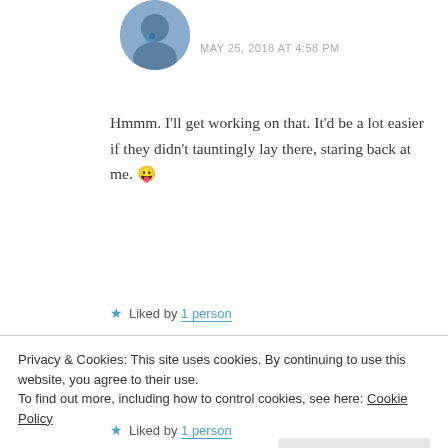[Figure (photo): Circular avatar image of a person, partially visible at top]
MAY 25, 2018 AT 4:58 PM
Hmmm. I'll get working on that. It'd be a lot easier if they didn't tauntingly lay there, staring back at me. 😛
★ Liked by 1 person
[Figure (photo): Circular avatar image of sunflowers]
calmkate
Privacy & Cookies: This site uses cookies. By continuing to use this website, you agree to their use.
To find out more, including how to control cookies, see here: Cookie Policy
Close and accept
★ Liked by 1 person